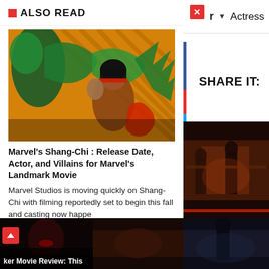ALSO READ
[Figure (photo): Comic book illustration of Marvel's Shang-Chi character fighting with green dragon/creature, orange and teal background with diagonal lines]
Marvel's Shang-Chi : Release Date, Actor, and Villains for Marvel's Landmark Movie
Marvel Studios is moving quickly on Shang-Chi with filming reportedly set to begin this fall and casting now happe
[Figure (photo): Dark thumbnail image, appears to be a movie scene - Joker Movie Review]
[Figure (photo): Dark thumbnail of a movie scene]
r ▼ Actress
SHARE IT:
[Figure (photo): Movie scene with fighting/action - warm toned, reddish lighting]
[Figure (photo): Dark movie scene thumbnail]